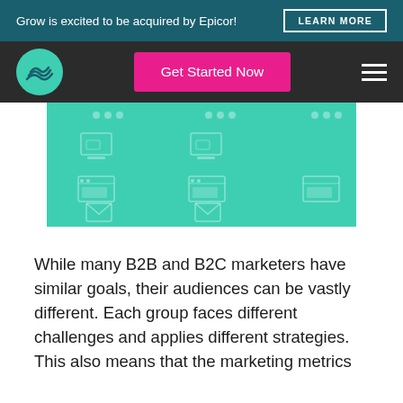Grow is excited to be acquired by Epicor! LEARN MORE
[Figure (screenshot): Navigation bar with Grow logo (teal circle with wave lines), Get Started Now pink button, and hamburger menu on dark background]
[Figure (screenshot): Teal panel showing faint icons of screens, browsers, envelopes arranged in a grid pattern]
While many B2B and B2C marketers have similar goals, their audiences can be vastly different. Each group faces different challenges and applies different strategies. This also means that the marketing metrics